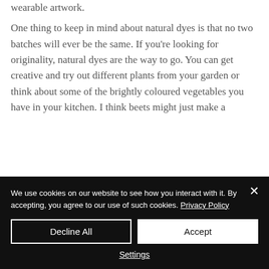wearable artwork.
One thing to keep in mind about natural dyes is that no two batches will ever be the same. If you're looking for originality, natural dyes are the way to go. You can get creative and try out different plants from your garden or think about some of the brightly coloured vegetables you have in your kitchen. I think beets might just make a
We use cookies on our website to see how you interact with it. By accepting, you agree to our use of such cookies. Privacy Policy
Decline All
Accept
Settings